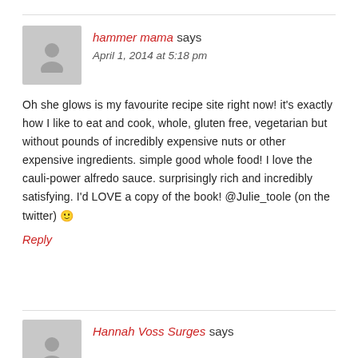hammer mama says
April 1, 2014 at 5:18 pm
Oh she glows is my favourite recipe site right now! it's exactly how I like to eat and cook, whole, gluten free, vegetarian but without pounds of incredibly expensive nuts or other expensive ingredients. simple good whole food! I love the cauli-power alfredo sauce. surprisingly rich and incredibly satisfying. I'd LOVE a copy of the book! @Julie_toole (on the twitter) 🙂
Reply
Hannah Voss Surges says